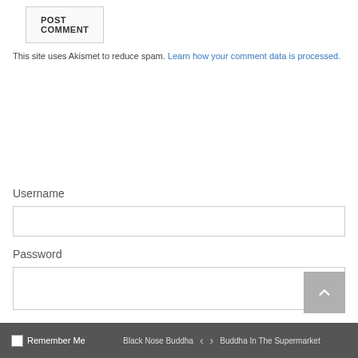POST COMMENT
This site uses Akismet to reduce spam. Learn how your comment data is processed.
Username
Password
Remember Me
Black Nose Buddha  <  >  Buddha In The Supermarket